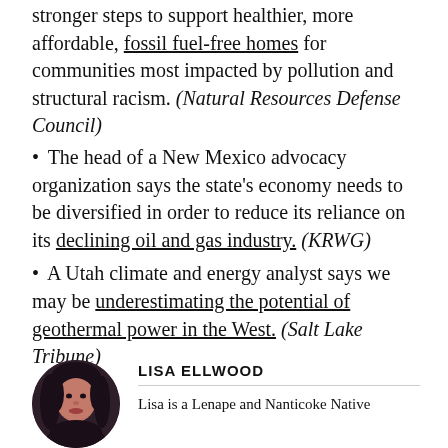stronger steps to support healthier, more affordable, fossil fuel-free homes for communities most impacted by pollution and structural racism. (Natural Resources Defense Council)
• The head of a New Mexico advocacy organization says the state's economy needs to be diversified in order to reduce its reliance on its declining oil and gas industry. (KRWG)
• A Utah climate and energy analyst says we may be underestimating the potential of geothermal power in the West. (Salt Lake Tribune)
[Figure (photo): Circular profile photo of Lisa Ellwood, a woman with long dark hair]
LISA ELLWOOD
Lisa is a Lenape and Nanticoke Native